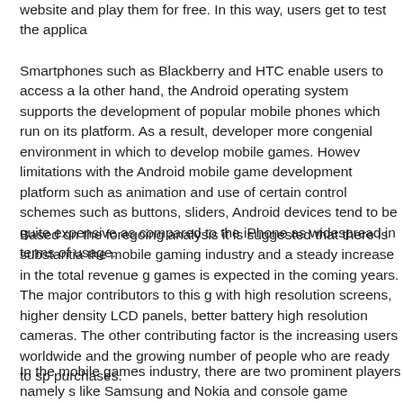website and play them for free. In this way, users get to test the applica
Smartphones such as Blackberry and HTC enable users to access a la other hand, the Android operating system supports the development of popular mobile phones which run on its platform. As a result, developers more congenial environment in which to develop mobile games. However, limitations with the Android mobile game development platform such as animation and use of certain control schemes such as buttons, sliders, Android devices tend to be quite expensive as compared to the iPhone as widespread in terms of usage.
Based on the foregoing analysis it is suggested that there is substantia the mobile gaming industry and a steady increase in the total revenue g games is expected in the coming years. The major contributors to this g with high resolution screens, higher density LCD panels, better battery high resolution cameras. The other contributing factor is the increasing users worldwide and the growing number of people who are ready to sp purchases.
In the mobile games industry, there are two prominent players namely s like Samsung and Nokia and console game developers like EA Sports